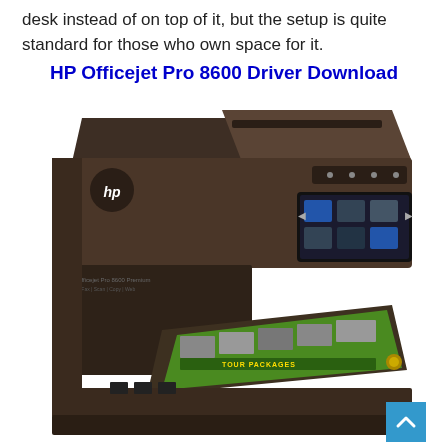desk instead of on top of it, but the setup is quite standard for those who own space for it.
HP Officejet Pro 8600 Driver Download
[Figure (photo): HP Officejet Pro 8600 printer, a large dark brown/bronze multifunction inkjet printer with ADF lid open at top, touchscreen display on front panel, and green paper visible in the output tray showing tour packages brochure.]